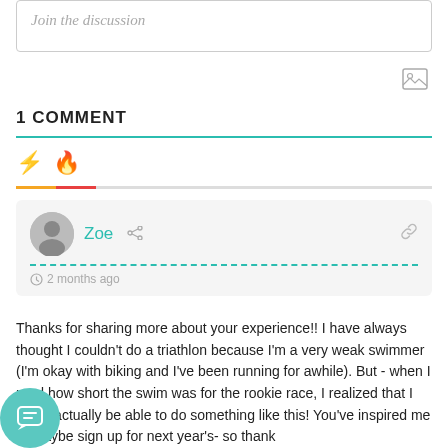Join the discussion
[Figure (other): Image upload icon button]
1 COMMENT
[Figure (other): Sort bar with lightning bolt and flame icons, orange and red underline tabs]
Zoe  2 months ago
Thanks for sharing more about your experience!! I have always thought I couldn't do a triathlon because I'm a very weak swimmer (I'm okay with biking and I've been running for awhile). But - when I read how short the swim was for the rookie race, I realized that I might actually be able to do something like this! You've inspired me to maybe sign up for next year's- so thank